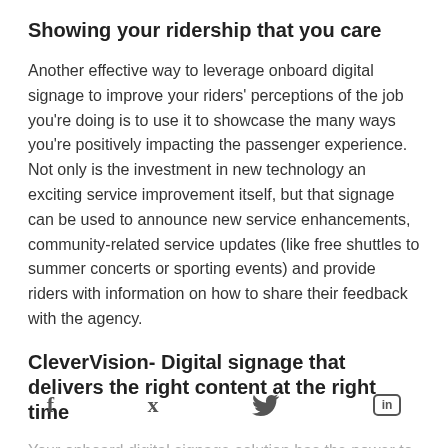Showing your ridership that you care
Another effective way to leverage onboard digital signage to improve your riders' perceptions of the job you're doing is to use it to showcase the many ways you're positively impacting the passenger experience. Not only is the investment in new technology an exciting service improvement itself, but that signage can be used to announce new service enhancements, community-related service updates (like free shuttles to summer concerts or sporting events) and provide riders with information on how to share their feedback with the agency.
CleverVision- Digital signage that delivers the right content at the right time
Your onboard digital signage solution has the power to connect your agency to your riders in a way that no